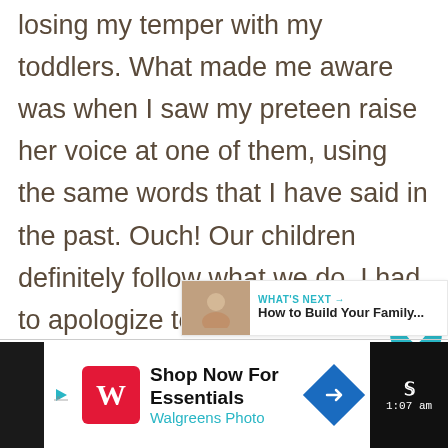losing my temper with my toddlers. What made me aware was when I saw my preteen raise her voice at one of them, using the same words that I have said in the past. Ouch! Our children definitely follow what we do. I had to apologize to each of them and have made an effort to be a Godly influence. They need to see Christ in me. Great ideas for a God-centered home
[Figure (screenshot): What's Next widget showing article 'How to Build Your Family...' with a child photo thumbnail]
[Figure (screenshot): Walgreens Photo advertisement banner: 'Shop Now For Essentials / Walgreens Photo' with red Walgreens W logo and blue arrow icon]